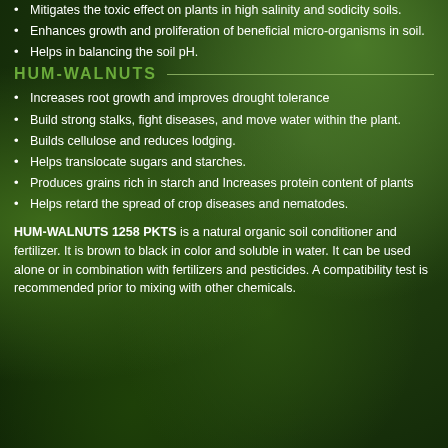Mitigates the toxic effect on plants in high salinity and sodicity soils.
Enhances growth and proliferation of beneficial micro-organisms in soil.
Helps in balancing the soil pH.
HUM-WALNUTS
Increases root growth and improves drought tolerance
Build strong stalks, fight diseases, and move water within the plant.
Builds cellulose and reduces lodging.
Helps translocate sugars and starches.
Produces grains rich in starch and Increases protein content of plants
Helps retard the spread of crop diseases and nematodes.
HUM-WALNUTS 1258 PKTS is a natural organic soil conditioner and fertilizer.  It is brown to black in color and soluble in water.  It can be used alone or in combination with fertilizers and pesticides. A compatibility test is recommended prior to mixing with other chemicals.